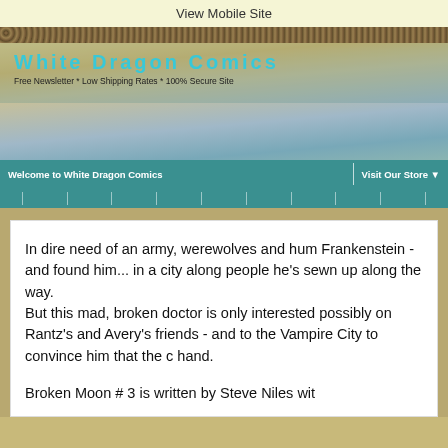View Mobile Site
[Figure (screenshot): White Dragon Comics website banner with logo, tagline 'Free Newsletter * Low Shipping Rates * 100% Secure Site', a landscape background with sky and water, and a teal navigation bar reading 'Welcome to White Dragon Comics | Visit Our Store']
In dire need of an army, werewolves and hum Frankenstein - and found him... in a city along people he's sewn up along the way.
But this mad, broken doctor is only interested possibly on Rantz's and Avery's friends - and to the Vampire City to convince him that the c hand.
Broken Moon # 3 is written by Steve Niles wit